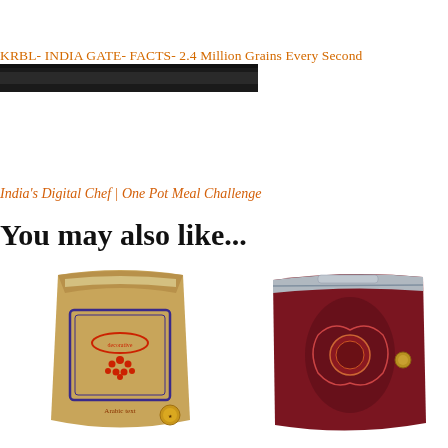KRBL- INDIA GATE- FACTS- 2.4 Million Grains Every Second
[Figure (photo): Dark banner/header image strip]
India's Digital Chef | One Pot Meal Challenge
You may also like...
[Figure (photo): Brown kraft paper rice bag with red Arabic text and decorative red emblem with medal badge]
[Figure (photo): Dark red/maroon rice bag with silver zipper top and decorative label]